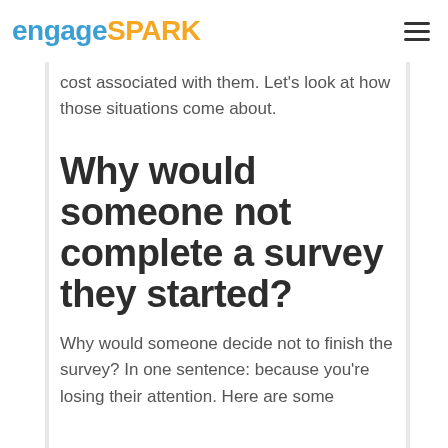engageSPARK
cost associated with them. Let's look at how those situations come about.
Why would someone not complete a survey they started?
Why would someone decide not to finish the survey? In one sentence: because you're losing their attention. Here are some